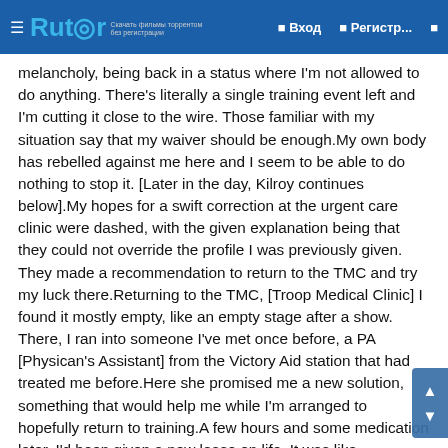Rutor | Вход | Регистр...
melancholy, being back in a status where I'm not allowed to do anything. There's literally a single training event left and I'm cutting it close to the wire. Those familiar with my situation say that my waiver should be enough.My own body has rebelled against me here and I seem to be able to do nothing to stop it. [Later in the day, Kilroy continues below].My hopes for a swift correction at the urgent care clinic were dashed, with the given explanation being that they could not override the profile I was previously given. They made a recommendation to return to the TMC and try my luck there.Returning to the TMC, [Troop Medical Clinic] I found it mostly empty, like an empty stage after a show. There, I ran into someone I've met once before, a PA [Physican's Assistant] from the Victory Aid station that had treated me before.Here she promised me a new solution, something that would help me while I'm arranged to hopefully return to training.A few hours and some medication later, I'd been given a new lease on life. It was like awakening from a bad dream. I was given an RTD [Return to Duty] and told to go on my merry way.As for lingering problems, I still have an issue